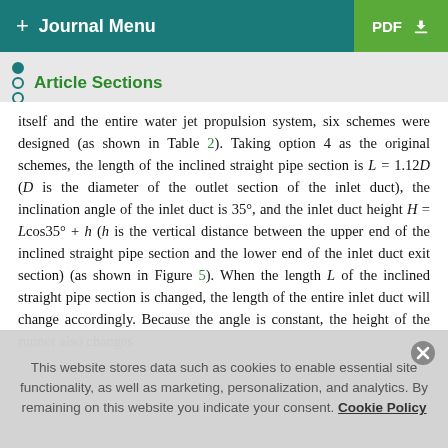+ Journal Menu | PDF ↓
Article Sections
itself and the entire water jet propulsion system, six schemes were designed (as shown in Table 2). Taking option 4 as the original schemes, the length of the inclined straight pipe section is L = 1.12D (D is the diameter of the outlet section of the inlet duct), the inclination angle of the inlet duct is 35°, and the inlet duct height H = Lcos35° + h (h is the vertical distance between the upper end of the inclined straight pipe section and the lower end of the inlet duct exit section) (as shown in Figure 5). When the length L of the inclined straight pipe section is changed, the length of the entire inlet duct will change accordingly. Because the angle is constant, the height of the runner also changes
This website stores data such as cookies to enable essential site functionality, as well as marketing, personalization, and analytics. By remaining on this website you indicate your consent. Cookie Policy